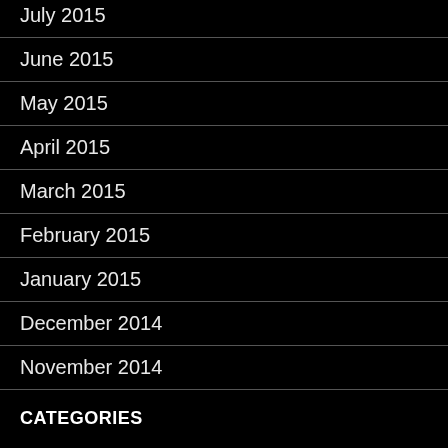July 2015
June 2015
May 2015
April 2015
March 2015
February 2015
January 2015
December 2014
November 2014
CATEGORIES
Air